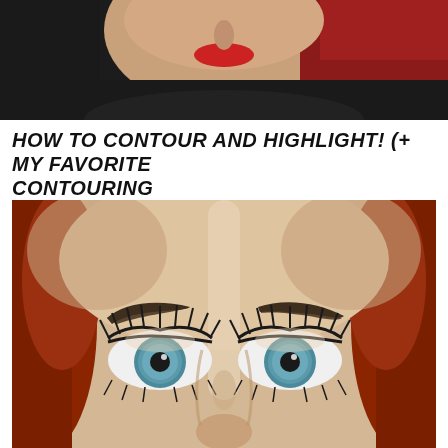[Figure (photo): Top portion of a video thumbnail showing a woman's face with red lipstick and dark background]
HOW TO CONTOUR AND HIGHLIGHT! (+ MY FAVORITE CONTOURING
[Figure (photo): Close-up photo of a woman's eyes and forehead showing contouring and highlighting makeup technique, with red hair, defined dark eyebrows, dramatic lashes, and blue-green eyes]